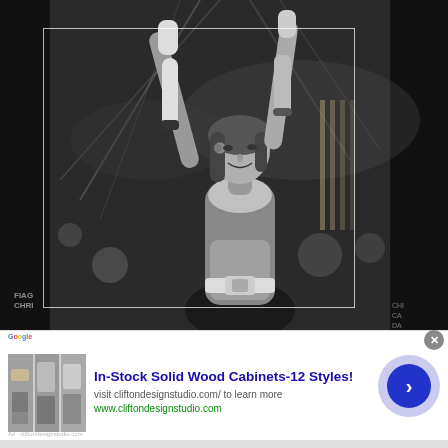[Figure (photo): Black and white photograph of a female wrestler/performer with arms raised, wearing a costume with fingerless gloves, performing in an arena with stage lighting. A white rectangle border overlay is visible on the photo.]
[Figure (photo): Advertisement banner. Shows small strip of interior room photos on the left. Text reads: 'In-Stock Solid Wood Cabinets-12 Styles!' with subtitle 'visit cliftondesignstudio.com/ to learn more' and URL 'www.cliftondesignstudio.com'. A blue circular arrow button on the right. Close X button top right.]